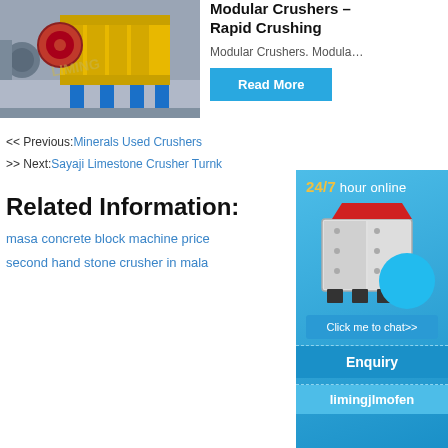[Figure (photo): Yellow jaw crusher machine on blue pedestals in an industrial setting, with 'LIMING' watermark]
Modular Crushers – Rapid Crushing
Modular Crushers. Modula…
Read More
<< Previous:Minerals Used Crushers
>> Next:Sayaji Limestone Crusher Turnk
Related Information:
masa concrete block machine price
second hand stone crusher in mala
[Figure (infographic): Blue sidebar with '24/7 hour online' text, image of a crusher machine, 'Click me to chat>>' button, 'Enquiry' section, and 'limingjlmofen' text]